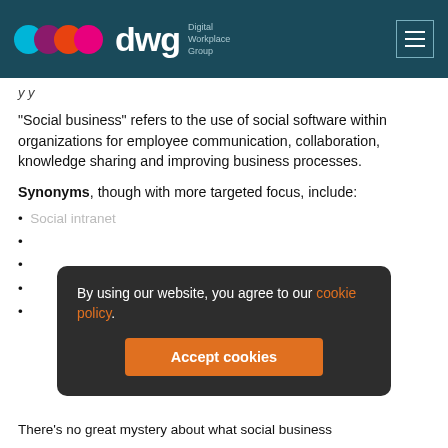dwg Digital Workplace Group
y y
“Social business” refers to the use of social software within organizations for employee communication, collaboration, knowledge sharing and improving business processes.
Synonyms, though with more targeted focus, include:
Social intranet
By using our website, you agree to our cookie policy.
Accept cookies
There’s no great mystery about what social business